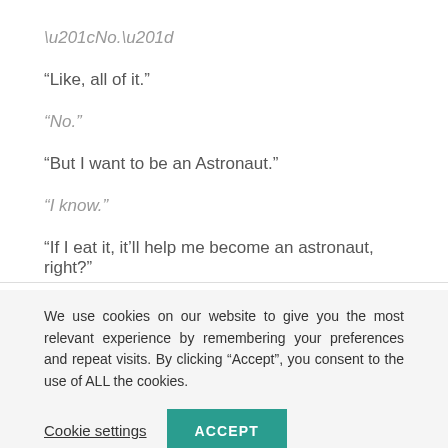“No.”
“Like, all of it.”
“No.”
“But I want to be an Astronaut.”
“I know.”
“If I eat it, it’ll help me become an astronaut, right?”
We use cookies on our website to give you the most relevant experience by remembering your preferences and repeat visits. By clicking “Accept”, you consent to the use of ALL the cookies.
Cookie settings
ACCEPT